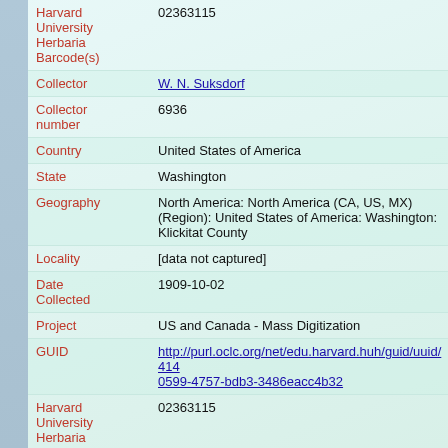| Field | Value |
| --- | --- |
| Harvard University Herbaria Barcode(s) | 02363115 |
| Collector | W. N. Suksdorf |
| Collector number | 6936 |
| Country | United States of America |
| State | Washington |
| Geography | North America: North America (CA, US, MX) (Region): United States of America: Washington: Klickitat County |
| Locality | [data not captured] |
| Date Collected | 1909-10-02 |
| Project | US and Canada - Mass Digitization |
| GUID | http://purl.oclc.org/net/edu.harvard.huh/guid/uuid/414...0599-4757-bdb3-3486eacc4b32 |
| Harvard University Herbaria Barcode | 02363115 |
| Herbarium | GH |
| Family | Polygonaceae |